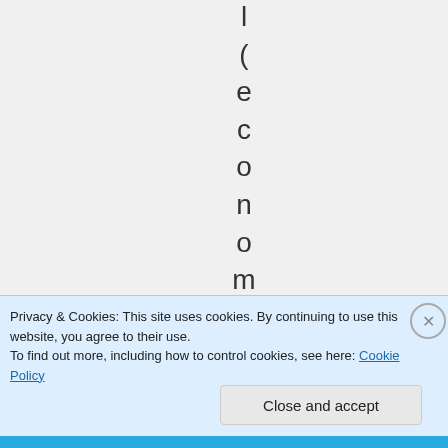[Figure (other): Vertical text spelling out '(economica' with each letter on its own line, displayed on a light gray background]
Privacy & Cookies: This site uses cookies. By continuing to use this website, you agree to their use.
To find out more, including how to control cookies, see here: Cookie Policy
Close and accept